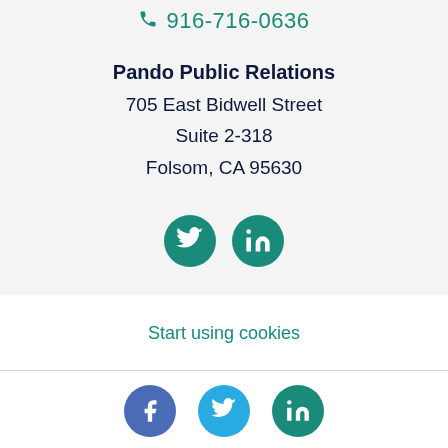916-716-0636
Pando Public Relations
705 East Bidwell Street
Suite 2-318
Folsom, CA 95630
[Figure (illustration): Two teal circular social media icons: Twitter bird and LinkedIn 'in' logo]
Start using cookies
[Figure (illustration): Three circular social media icons at bottom: Facebook (blue-purple), Twitter (light blue), LinkedIn (teal)]